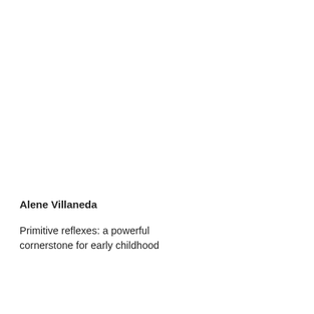Alene Villaneda
Primitive reflexes: a powerful cornerstone for early childhood